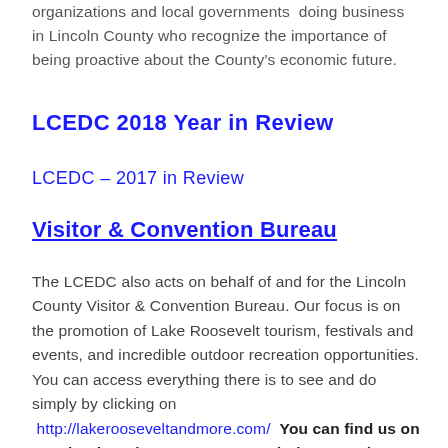organizations and local governments  doing business in Lincoln County who recognize the importance of being proactive about the County's economic future.
LCEDC 2018 Year in Review
LCEDC – 2017 in Review
Visitor & Convention Bureau
The LCEDC also acts on behalf of and for the Lincoln County Visitor & Convention Bureau. Our focus is on the promotion of Lake Roosevelt tourism, festivals and events, and incredible outdoor recreation opportunities. You can access everything there is to see and do simply by clicking on  http://lakerooseveltandmore.com/  You can find us on Facebook, Twitter, Instagram and Pinterest also. Just search for Lake Roosevelt and More.